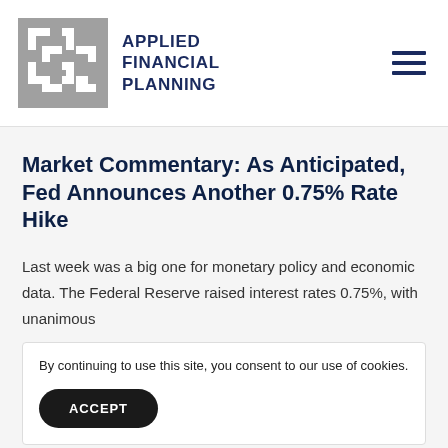[Figure (logo): Applied Financial Planning logo: grey square with white arrow/bracket shapes and company name in dark navy bold uppercase text]
Market Commentary: As Anticipated, Fed Announces Another 0.75% Rate Hike
Last week was a big one for monetary policy and economic data. The Federal Reserve raised interest rates 0.75%, with unanimous
By continuing to use this site, you consent to our use of cookies.